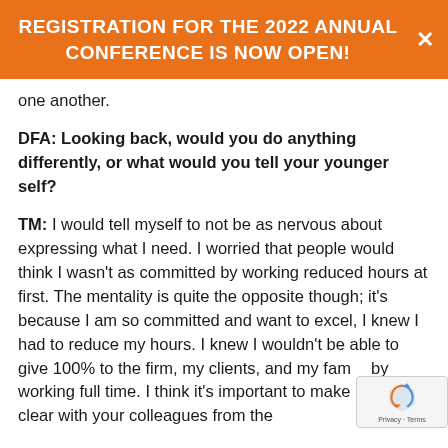REGISTRATION FOR THE 2022 ANNUAL CONFERENCE IS NOW OPEN!
one another.
DFA: Looking back, would you do anything differently, or what would you tell your younger self?
TM: I would tell myself to not be as nervous about expressing what I need. I worried that people would think I wasn't as committed by working reduced hours at first. The mentality is quite the opposite though; it's because I am so committed and want to excel, I knew I had to reduce my hours. I knew I wouldn't be able to give 100% to the firm, my clients, and my family by working full time. I think it's important to make it very clear with your colleagues from the